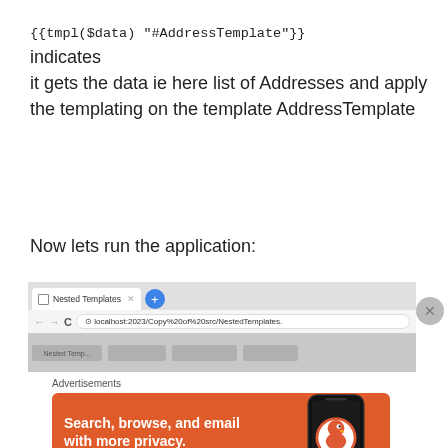{{tmpl($data) "#AddressTemplate"}} indicates it gets the data ie here list of Addresses and apply the templating on the template AddressTemplate
Now lets run the application:
[Figure (screenshot): Browser screenshot showing 'Nested Templates' tab open at localhost:2023/Copy%20of%20src/NestedTemplates...]
Advertisements
[Figure (infographic): DuckDuckGo advertisement banner: 'Search, browse, and email with more privacy. All in One Free App' with DuckDuckGo logo on phone]